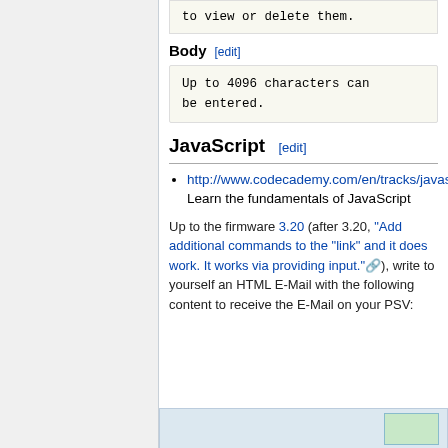to view or delete them.
Body [edit]
Up to 4096 characters can be entered.
JavaScript [edit]
http://www.codecademy.com/en/tracks/javascript Learn the fundamentals of JavaScript
Up to the firmware 3.20 (after 3.20, "Add additional commands to the "link" and it does work. It works via providing input."), write to yourself an HTML E-Mail with the following content to receive the E-Mail on your PSV:
[Figure (screenshot): Partial screenshot of a code or diagram box at the bottom, with a green inner box visible]